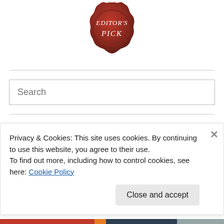[Figure (illustration): Red wax seal stamp with text EDITOR'S PICK in white script font]
Search
Archives
July 2021 (1)
Privacy & Cookies: This site uses cookies. By continuing to use this website, you agree to their use.
To find out more, including how to control cookies, see here: Cookie Policy
Close and accept